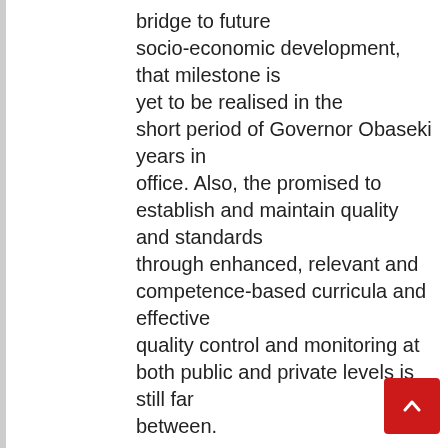bridge to future socio-economic development, that milestone is yet to be realised in the short period of Governor Obaseki years in office. Also, the promised to establish and maintain quality and standards through enhanced, relevant and competence-based curricula and effective quality control and monitoring at both public and private levels is still far between.

It has been revealed that strengthening Edo State's technological and scientific foundation by rejigging technical, vocational and entrepreneurial education formats and